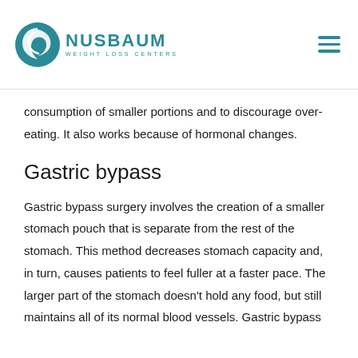NUSBAUM WEIGHT LOSS CENTERS
consumption of smaller portions and to discourage over-eating. It also works because of hormonal changes.
Gastric bypass
Gastric bypass surgery involves the creation of a smaller stomach pouch that is separate from the rest of the stomach. This method decreases stomach capacity and, in turn, causes patients to feel fuller at a faster pace. The larger part of the stomach doesn't hold any food, but still maintains all of its normal blood vessels. Gastric bypass